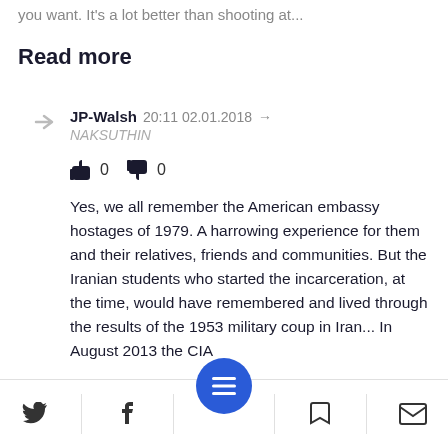you want. It's a lot better than shooting at...
Read more
JP-Walsh 20:11 02.01.2018 → NAKSUTHIN
👍 0  👎 0
Yes, we all remember the American embassy hostages of 1979. A harrowing experience for them and their relatives, friends and communities. But the Iranian students who started the incarceration, at the time, would have remembered and lived through the results of the 1953 military coup in Iran... In August 2013 the CIA
Twitter | Facebook | Menu | Bookmark | Mail